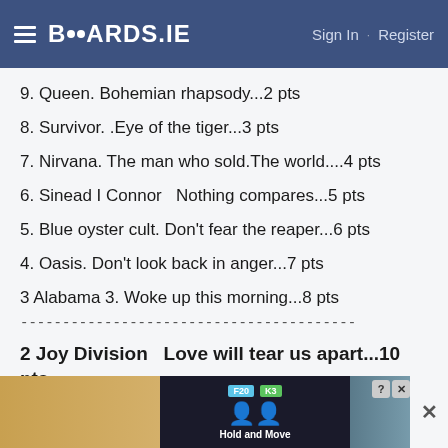BOARDS.IE — Sign In · Register
9. Queen. Bohemian rhapsody...2 pts
8. Survivor. .Eye of the tiger...3 pts
7. Nirvana. The man who sold.The world....4 pts
6. Sinead I Connor  Nothing compares...5 pts
5. Blue oyster cult. Don't fear the reaper...6 pts
4. Oasis. Don't look back in anger...7 pts
3 Alabama 3. Woke up this morning...8 pts
----------------------------------------
2 Joy Division  Love will tear us apart...10 pts
[Figure (screenshot): Advertisement banner at the bottom showing a 'Hold and Move' app ad with winter outdoor scene]